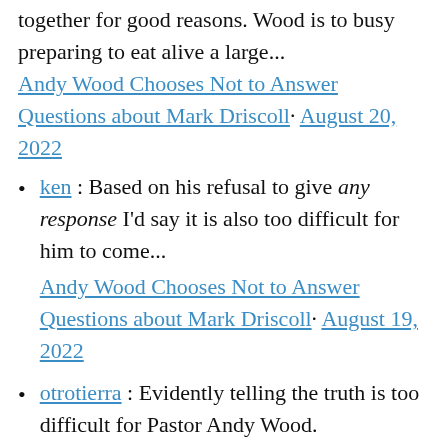together for good reasons. Wood is to busy preparing to eat alive a large...
Andy Wood Chooses Not to Answer Questions about Mark Driscoll · August 20, 2022
ken : Based on his refusal to give any response I'd say it is also too difficult for him to come... Andy Wood Chooses Not to Answer Questions about Mark Driscoll · August 19, 2022
otrotierra : Evidently telling the truth is too difficult for Pastor Andy Wood. Andy Wood Chooses Not to Answer Questions about Mark Driscoll · August 19...